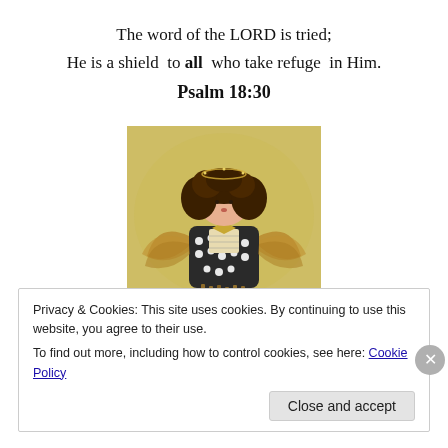The word of the LORD is tried;
He is a shield to all who take refuge in Him.
Psalm 18:30
[Figure (photo): A handmade angel craft figurine with dark curly hair, wearing a patterned dress with straw/raffia wings and body, set against a yellow background.]
Privacy & Cookies: This site uses cookies. By continuing to use this website, you agree to their use.
To find out more, including how to control cookies, see here: Cookie Policy
Close and accept